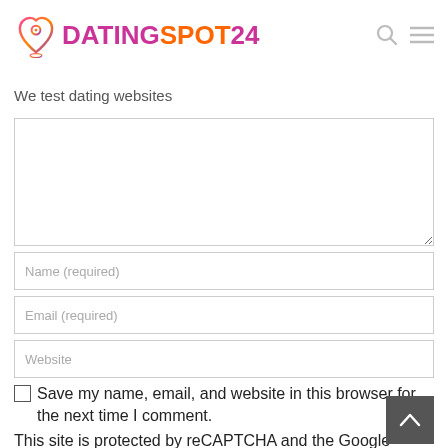[Figure (logo): DatingSpot24 logo with heart/location pin icon in gradient pink-orange-purple and text DATINGSPOT24 in bold pink/orange]
We test dating websites
Name (required)
Email (required)
Website
Save my name, email, and website in this browser for the next time I comment.
This site is protected by reCAPTCHA and the Google Privacy Policy and Terms of Service apply.